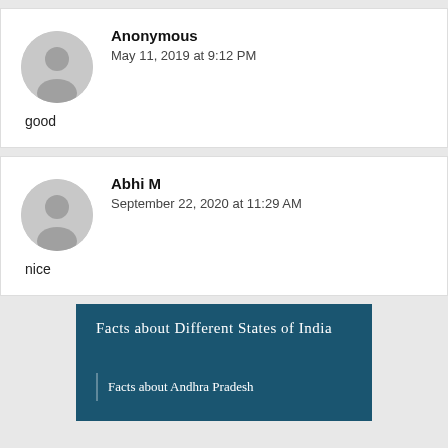Anonymous
May 11, 2019 at 9:12 PM
good
Abhi M
September 22, 2020 at 11:29 AM
nice
Facts about Different States of India
Facts about Andhra Pradesh